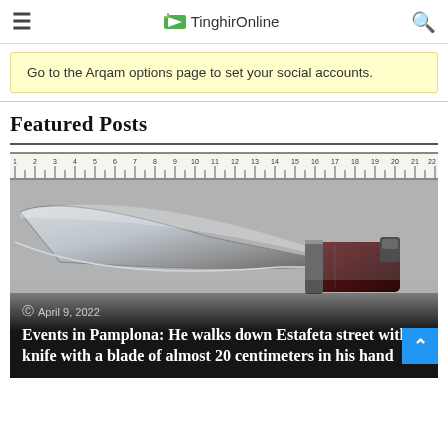TinghirOnline
Go to the Arqam options page to set your social accounts.
Featured Posts
[Figure (photo): Close-up photograph of a knife with a long blade (~20cm) against a grey background with a ruler visible at the top measuring the blade length. The knife has a dark red/brown wooden handle with metal bolsters.]
April 9, 2022 — Events in Pamplona: He walks down Estafeta street with a knife with a blade of almost 20 centimeters in his hand